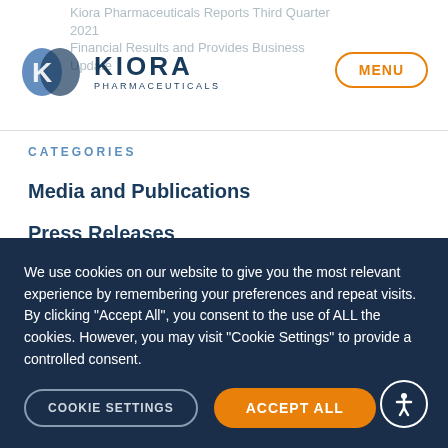Kiora Pharmaceuticals Reports Third Quarter 2021 Financial Results and Provides Business Update
[Figure (logo): Kiora Pharmaceuticals logo with two overlapping blue shield/K shapes and text KIORA PHARMACEUTICALS]
MENU
CATEGORIES
Media and Publications
Press Releases
Uncategorized
We use cookies on our website to give you the most relevant experience by remembering your preferences and repeat visits. By clicking "Accept All", you consent to the use of ALL the cookies. However, you may visit "Cookie Settings" to provide a controlled consent.
COOKIE SETTINGS
ACCEPT ALL